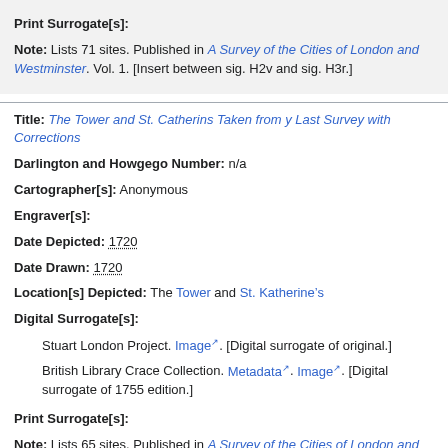Print Surrogate[s]:
Note: Lists 71 sites. Published in A Survey of the Cities of London and Westminster. Vol. 1. [Insert between sig. H2v and sig. H3r.]
Title: The Tower and St. Catherins Taken from y Last Survey with Corrections
Darlington and Howgego Number: n/a
Cartographer[s]: Anonymous
Engraver[s]:
Date Depicted: 1720
Date Drawn: 1720
Location[s] Depicted: The Tower and St. Katherine’s
Digital Surrogate[s]:
Stuart London Project. Image. [Digital surrogate of original.]
British Library Crace Collection. Metadata. Image. [Digital surrogate of 1755 edition.]
Print Surrogate[s]:
Note: Lists 65 sites. Published in A Survey of the Cities of London and Westminster. Vol. 1. [Insert between sig. H4v and sig. H1r.]